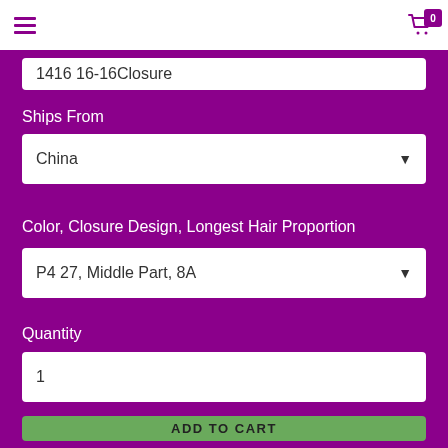Menu | Cart (0)
1416 16-16Closure
Ships From
China
Color, Closure Design, Longest Hair Proportion
P4 27, Middle Part, 8A
Quantity
1
ADD TO CART